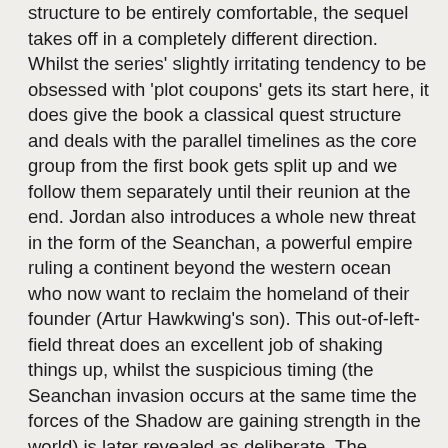structure to be entirely comfortable, the sequel takes off in a completely different direction. Whilst the series' slightly irritating tendency to be obsessed with 'plot coupons' gets its start here, it does give the book a classical quest structure and deals with the parallel timelines as the core group from the first book gets split up and we follow them separately until their reunion at the end. Jordan also introduces a whole new threat in the form of the Seanchan, a powerful empire ruling a continent beyond the western ocean who now want to reclaim the homeland of their founder (Artur Hawkwing's son). This out-of-left-field threat does an excellent job of shaking things up, whilst the suspicious timing (the Seanchan invasion occurs at the same time the forces of the Shadow are gaining strength in the world) is later revealed as deliberate. The characters are deepened and made more interesting, particularly Rand and Perrin who are shown to grow and change as a result of the revelations they have discovered and the things they have suffered in the first novel. However, we also get to see the Dumb Aes Sedai plot trope get the first of many wearying outings, as Nynaeve, Elayne and Egwene get led into a trap which couldn't be any more painfully obvious. Only their relative youth and naivete